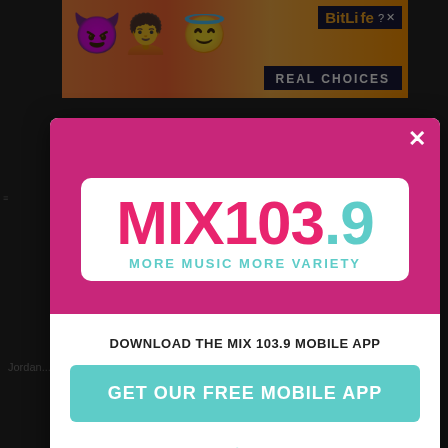[Figure (screenshot): Screenshot of a webpage with a modal popup for MIX 103.9 radio station app download. Background shows a webpage being obscured by a modal dialog. Top and bottom show BitLife advertisement banners. The modal has a magenta header with MIX 103.9 logo, a download prompt, a teal 'GET OUR FREE MOBILE APP' button, and Amazon Alexa listening option.]
DOWNLOAD THE MIX 103.9 MOBILE APP
GET OUR FREE MOBILE APP
Also listen on: amazon alexa